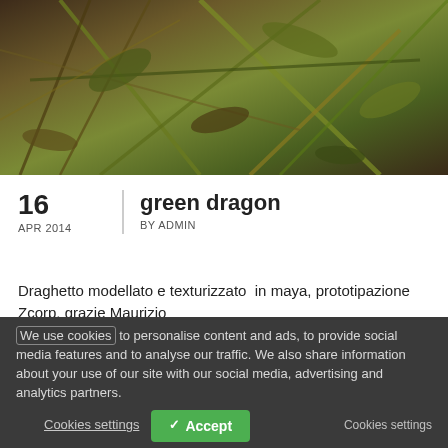[Figure (photo): Close-up photo of plant leaves, stems and foliage with warm vintage tones, browns and greens.]
green dragon
16
APR 2014
BY ADMIN
Draghetto modellato e texturizzato  in maya, prototipazione Zcorp, grazie Maurizio
We use cookies to personalise content and ads, to provide social media features and to analyse our traffic. We also share information about your use of our site with our social media, advertising and analytics partners.
Cookies settings    ✓ Accept    Cookies settings